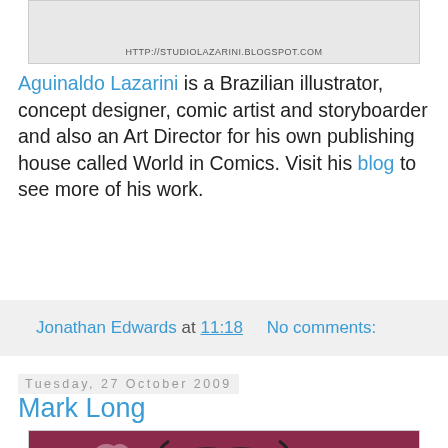[Figure (photo): Top portion of a blog image showing HTTP://STUDIOLAZARINI.BLOGSPOT.COM URL text at the bottom]
Aguinaldo Lazarini is a Brazilian illustrator, concept designer, comic artist and storyboarder and also an Art Director for his own publishing house called World in Comics. Visit his blog to see more of his work.
Jonathan Edwards at 11:18    No comments:
Tuesday, 27 October 2009
Mark Long
[Figure (illustration): Illustration of a muscular figure with flowing hair on a dark red/maroon background, drawn in a stylized comic art style with black outlines and pink/light highlights]